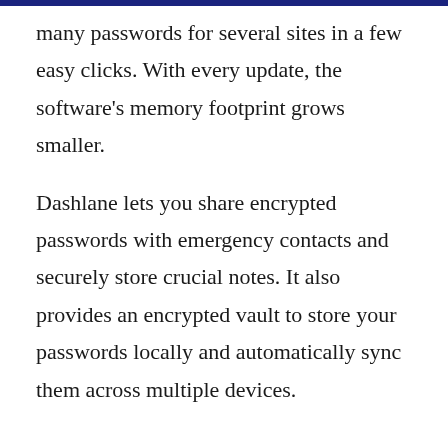many passwords for several sites in a few easy clicks. With every update, the software's memory footprint grows smaller.
Dashlane lets you share encrypted passwords with emergency contacts and securely store crucial notes. It also provides an encrypted vault to store your passwords locally and automatically sync them across multiple devices.